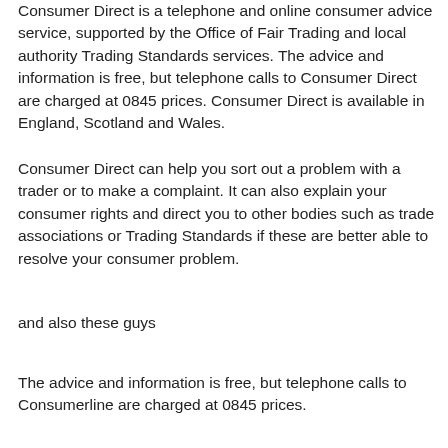Consumer Direct is a telephone and online consumer advice service, supported by the Office of Fair Trading and local authority Trading Standards services. The advice and information is free, but telephone calls to Consumer Direct are charged at 0845 prices. Consumer Direct is available in England, Scotland and Wales.
Consumer Direct can help you sort out a problem with a trader or to make a complaint. It can also explain your consumer rights and direct you to other bodies such as trade associations or Trading Standards if these are better able to resolve your consumer problem.
and also these guys
The advice and information is free, but telephone calls to Consumerline are charged at 0845 prices.